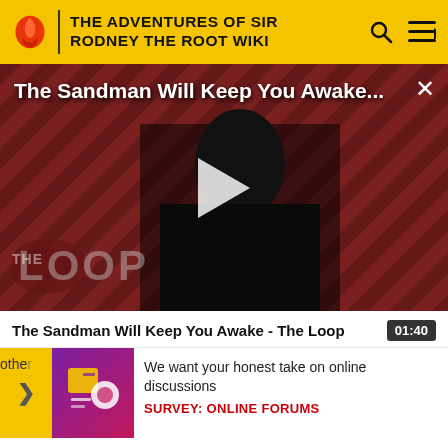THE ADVENTURES OF SIR RODNEY THE ROOT WIKI
[Figure (screenshot): Video thumbnail for 'The Sandman Will Keep You Awake - The Loop' showing a dark-cloaked figure against a red diagonal striped background with THE LOOP branding and a play button overlay]
The Sandman Will Keep You Awake - The Loop  01:40
other
[Figure (illustration): Survey banner advertisement with purple/magenta graphic icon]
We want your honest take on online discussions
SURVEY: ONLINE FORUMS